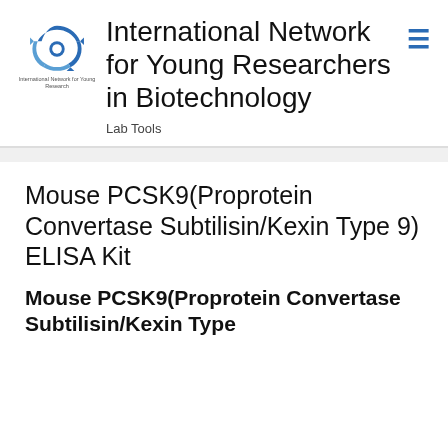[Figure (logo): International Network for Young Researchers in Biotechnology circular arrow logo in blue]
International Network for Young Researchers in Biotechnology
Lab Tools
Mouse PCSK9(Proprotein Convertase Subtilisin/Kexin Type 9) ELISA Kit
Mouse PCSK9(Proprotein Convertase Subtilisin/Kexin Type